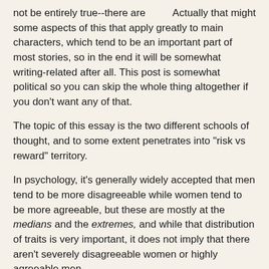Actually that might not be entirely true--there are some aspects of this that apply greatly to main characters, which tend to be an important part of most stories, so in the end it will be somewhat writing-related after all. This post is somewhat political so you can skip the whole thing altogether if you don't want any of that.
The topic of this essay is the two different schools of thought, and to some extent penetrates into "risk vs reward" territory.
In psychology, it's generally widely accepted that men tend to be more disagreeable while women tend to be more agreeable, but these are mostly at the medians and the extremes, and while that distribution of traits is very important, it does not imply that there aren't severely disagreeable women or highly agreeable men.
In order to continue, we need to understand precisely what being agreeable or disagree even means, and whether or not one quality is better than the other is highly subjective.